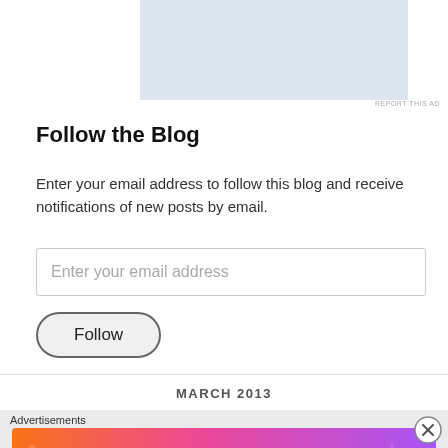[Figure (other): Advertisement placeholder banner — light blue rectangle at top]
REPORT THIS AD
Follow the Blog
Enter your email address to follow this blog and receive notifications of new posts by email.
Enter your email address
Follow
MARCH 2013
Advertisements
[Figure (other): Fandom on Tumblr colorful advertisement banner with gradient from orange to pink to purple]